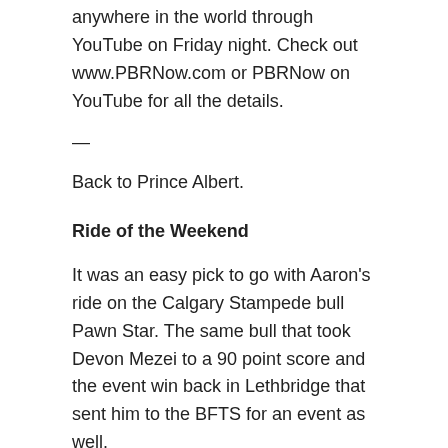anywhere in the world through YouTube on Friday night. Check out www.PBRNow.com or PBRNow on YouTube for all the details.
—
Back to Prince Albert.
Ride of the Weekend
It was an easy pick to go with Aaron's ride on the Calgary Stampede bull Pawn Star. The same bull that took Devon Mezei to a 90 point score and the event win back in Lethbridge that sent him to the BFTS for an event as well.
[Figure (screenshot): Video thumbnail showing Aaron Roy 91.5 on Pawn Star (C... with Everything Cowboy logo on the left and a rodeo scene in the background]